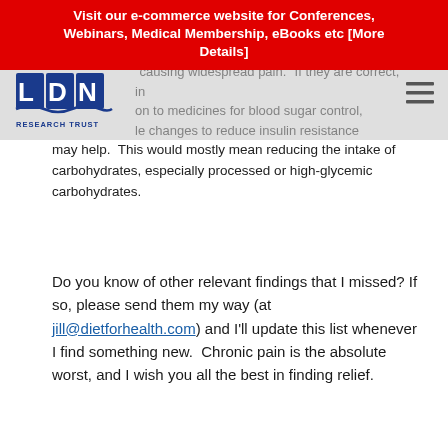Visit our e-commerce website for Conferences, Webinars, Medical Membership, eBooks etc [More Details]
causing widespread pain. If they are correct, in on to medicines for blood sugar control, le changes to reduce insulin resistance may help. This would mostly mean reducing the intake of carbohydrates, especially processed or high-glycemic carbohydrates.
Do you know of other relevant findings that I missed? If so, please send them my way (at jill@dietforhealth.com) and I'll update this list whenever I find something new. Chronic pain is the absolute worst, and I wish you all the best in finding relief.